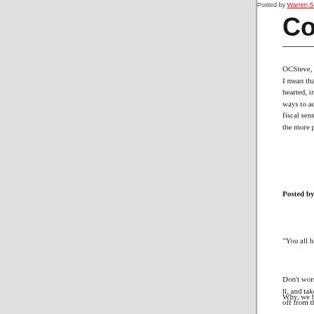Posted by Warren Soss at 05:15 PM in Iraq and Terrorism |
Comments
OCSteve, to my way of thinking, you're just thinki... I mean that seriously. You're being cautious abou... hearted, interested in what's actually done versus... ways to accomplish aims with a minimum of side... fiscal sense...that's all perfectly fine conservative... the more people get back to homesteading it the b...
Posted by: Bruce Baugh | June 03, 2007 at 06:50 PM
"You all have me thinking more and more like a le...
Don't worry: while our ultimate goal is to get you t... ll, and take up a placard and a place in the crowd... off from there.
Why, we haven't even gotten to dialectical materia...
Slightly more seriously, either ideas are reasonab... are plenty of "rightwing" ideas I approve of -- curio...